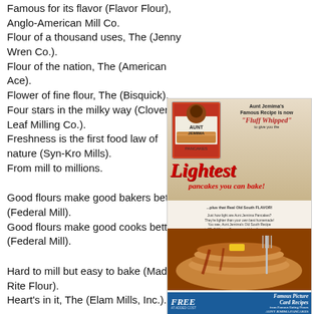Famous for its flavor (Flavor Flour), Anglo-American Mill Co.
Flour of a thousand uses, The (Jenny Wren Co.).
Flour of the nation, The (American Ace).
Flower of fine flour, The (Bisquick).
Four stars in the milky way (Clover Leaf Milling Co.).
Freshness is the first food law of nature (Syn-Kro Mills).
From mill to millions.
Good flours make good bakers better (Federal Mill).
Good flours make good cooks better (Federal Mill).
Hard to mill but easy to bake (Made-Rite Flour).
Heart's in it, The (Elam Mills, Inc.).
If you can boil water, you can cook ZOOM (Fisher Flouring Mills).
In every home (Sperry Flour Co.).
I'se in town, honey (Aunt
[Figure (illustration): Vintage Aunt Jemima pancake mix advertisement. Features a box of Aunt Jemima Pancakes mix, text reading 'Aunt Jemima's Famous Recipe is now Fluff Whipped to give you the Lightest pancakes you can bake! ...plus that Real Old South FLAVOR!' with body copy about how light the pancakes are, a photo of a stack of golden pancakes with syrup and a fork, and a blue bar at the bottom offering 'FREE Famous Picture Card Recipes from Famous Eating Flours / Aunt Jemima Pancakes'.]